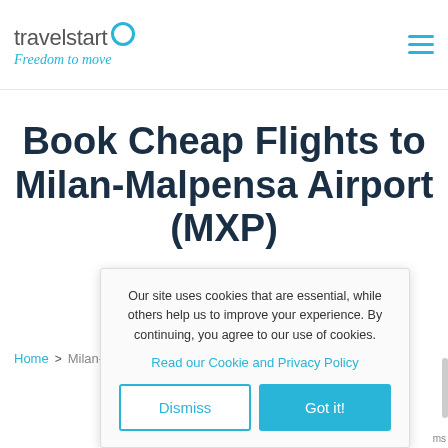[Figure (logo): Travelstart logo with circle icon and tagline 'Freedom to move']
Book Cheap Flights to Milan-Malpensa Airport (MXP)
Home > Milan-M...
Our site uses cookies that are essential, while others help us to improve your experience. By continuing, you agree to our use of cookies.
Read our Cookie and Privacy Policy
Dismiss
Got it!